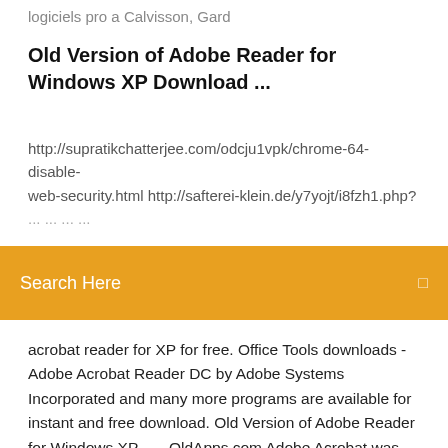logiciels pro a Calvisson, Gard
Old Version of Adobe Reader for Windows XP Download ...
http://supratikchatterjee.com/odcju1vpk/chrome-64-disable-web-security.html http://safterei-klein.de/y7yojt/i8fzh1.php?
Search Here
acrobat reader for XP for free. Office Tools downloads - Adobe Acrobat Reader DC by Adobe Systems Incorporated and many more programs are available for instant and free download. Old Version of Adobe Reader for Windows XP ... - OldApps.com Adobe Acrobat was the first software to support Adobe Systems' Portable Document Format (PDF). It is a family of software, some commercial and some free of charge. Adobe Reader (formerly called Acrobat Reader) is available as a no-charge download from Adobe's web site, and allows the viewing